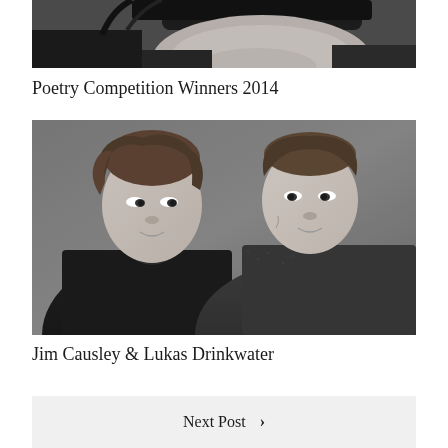[Figure (photo): Partial black and white close-up photo, cropped at top, showing lower portion of a person's face and dark clothing.]
Poetry Competition Winners 2014
[Figure (photo): Black and white portrait photo of two men looking at each other against a grey background. Left man wears a dark jacket, right man wears a dark patterned shirt.]
Jim Causley & Lukas Drinkwater
Next Post >